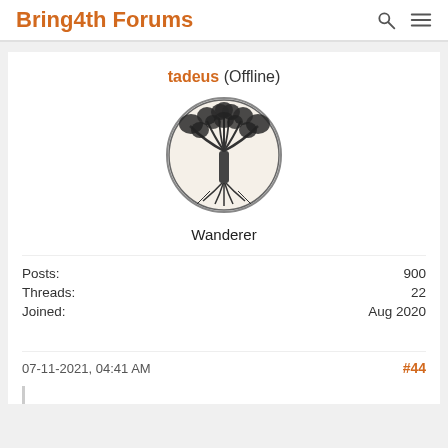Bring4th Forums
tadeus (Offline)
[Figure (illustration): Circular avatar image showing a tree of life illustration — a detailed ink drawing of a tree with branches forming a circle and visible roots below, inside a circular border.]
Wanderer
| Field | Value |
| --- | --- |
| Posts: | 900 |
| Threads: | 22 |
| Joined: | Aug 2020 |
07-11-2021, 04:41 AM
#44